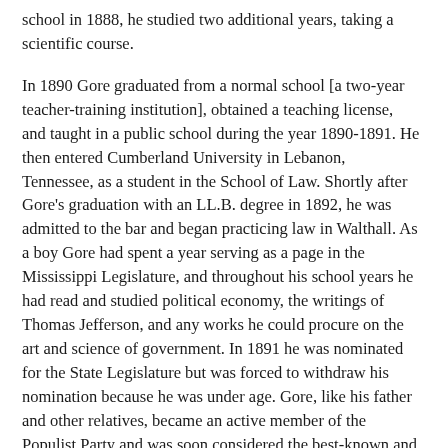school in 1888, he studied two additional years, taking a scientific course.
In 1890 Gore graduated from a normal school [a two-year teacher-training institution], obtained a teaching license, and taught in a public school during the year 1890-1891. He then entered Cumberland University in Lebanon, Tennessee, as a student in the School of Law. Shortly after Gore's graduation with an LL.B. degree in 1892, he was admitted to the bar and began practicing law in Walthall. As a boy Gore had spent a year serving as a page in the Mississippi Legislature, and throughout his school years he had read and studied political economy, the writings of Thomas Jefferson, and any works he could procure on the art and science of government. In 1891 he was nominated for the State Legislature but was forced to withdraw his nomination because he was under age. Gore, like his father and other relatives, became an active member of the Populist Party and was soon considered the best-known and most able stump speaker for that party. When the Mississippi Populists were defeated in 1895, the "Blind Orator," as he had come to be known, moved to Corsicana, Texas, where he continued to be an active member of the Populist Party and practiced law.
In 1896 he served as a delegate to the Populist National Convention in Saint Louis, Missouri, and two years later was